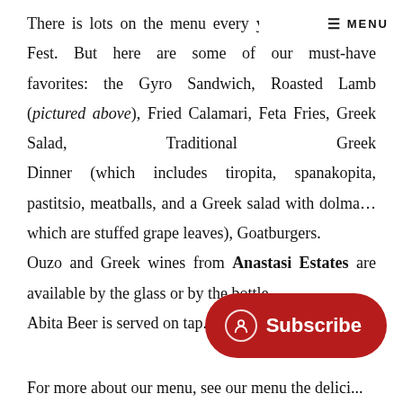☰  MENU
There is lots on the menu every year at the Greek Fest. But here are some of our must-have favorites: the Gyro Sandwich, Roasted Lamb (pictured above), Fried Calamari, Feta Fries, Greek Salad, Traditional Greek Dinner (which includes tiropita, spanakopita, pastitsio, meatballs, and a Greek salad with dolma… which are stuffed grape leaves), Goatburgers.
Ouzo and Greek wines from Anastasi Estates are available by the glass or by the bottle.
Abita Beer is served on tap.
For more about our menu, see our menu the delici...